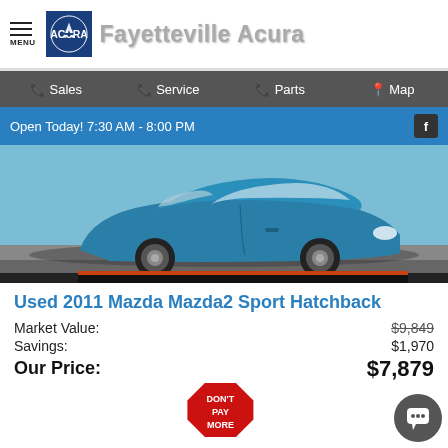Fayetteville Acura
Sales  Service  Parts  Map
Open Today! 7:30 AM - 8:00 PM
[Figure (photo): Blue Mazda Mazda2 Sport Hatchback photographed from front-left angle in a parking lot]
Used 2011 Mazda Mazda2 Sport Hatchback
Market Value: $9,849
Savings: $1,970
Our Price: $7,879
[Figure (other): Red octagon stop sign graphic with text DON'T PAY MORE]